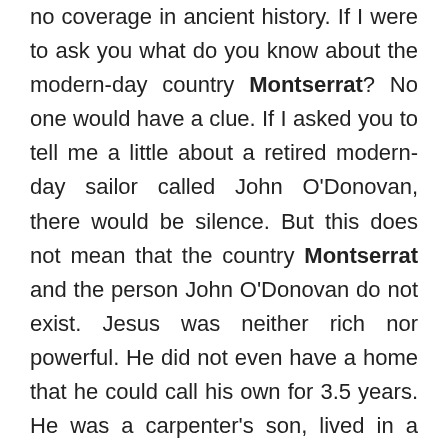no coverage in ancient history. If I were to ask you what do you know about the modern-day country Montserrat? No one would have a clue. If I asked you to tell me a little about a retired modern-day sailor called John O'Donovan, there would be silence. But this does not mean that the country Montserrat and the person John O'Donovan do not exist. Jesus was neither rich nor powerful. He did not even have a home that he could call his own for 3.5 years. He was a carpenter's son, lived in a small village called Nazareth. The governor of the region of Judea, whose capital was Jerusalem, that had a population of 600,000 persons in Jesus' day was Pontius Pilate. We only have two pieces of archaeological evidence that refers to this prominent governor, yet we have twelve